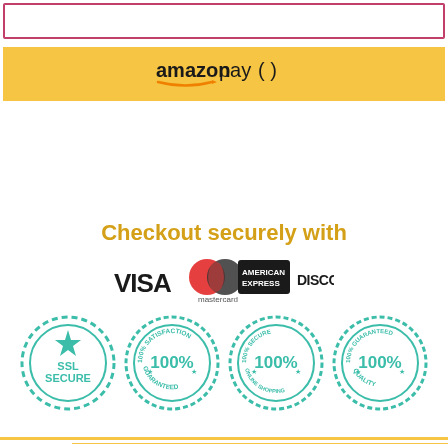[Figure (screenshot): Empty input box with pink/magenta border]
[Figure (logo): Amazon Pay button on yellow/golden background]
Checkout securely with
[Figure (logo): Payment logos: VISA, Mastercard, American Express, Discover]
[Figure (infographic): Four teal circular trust badges: SSL Secure, 100% Satisfaction Guaranteed, 100% Secure Online Shopping, 100% Guaranteed Quality]